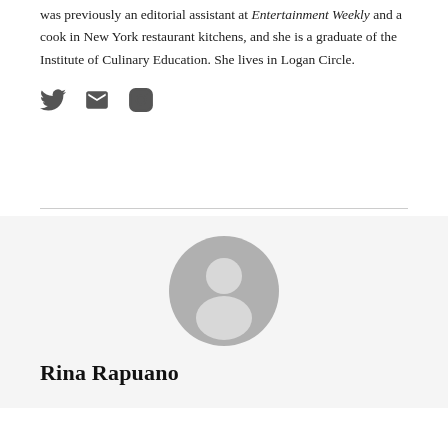was previously an editorial assistant at Entertainment Weekly and a cook in New York restaurant kitchens, and she is a graduate of the Institute of Culinary Education. She lives in Logan Circle.
[Figure (infographic): Three social media icons: Twitter bird icon, Email envelope icon, Instagram camera icon, displayed in a row]
[Figure (photo): Generic gray circular user avatar/profile placeholder image]
Rina Rapuano